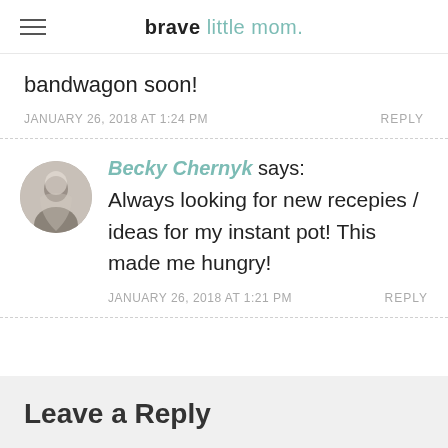brave little mom.
bandwagon soon!
JANUARY 26, 2018 AT 1:24 PM    REPLY
Becky Chernyk says: Always looking for new recepies / ideas for my instant pot! This made me hungry!
JANUARY 26, 2018 AT 1:21 PM    REPLY
Leave a Reply